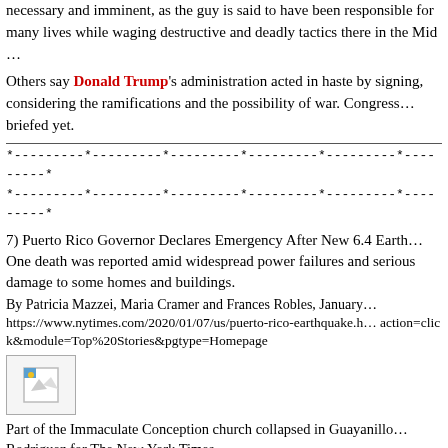necessary and imminent, as the guy is said to have been responsible for many lives while waging destructive and deadly tactics there in the Mid...
Others say Donald Trump's administration acted in haste by signing... considering the ramifications and the possibility of war. Congress... briefed yet.
*---------*---------*---------*---------*---------*---------*
*---------*---------*---------*---------*---------*---------*
7) Puerto Rico Governor Declares Emergency After New 6.4 Earthquake. One death was reported amid widespread power failures and serious damage to some homes and buildings.
By Patricia Mazzei, Maria Cramer and Frances Robles, January...
https://www.nytimes.com/2020/01/07/us/puerto-rico-earthquake.h...
action=click&module=Top%20Stories&pgtype=Homepage
[Figure (photo): Broken image placeholder icon showing a small image thumbnail with a colored corner icon]
Part of the Immaculate Conception church collapsed in Guayanilla... Rodriguez for The New York Times
MIAMI — The strongest tremor yet in a week of heavy seismic...